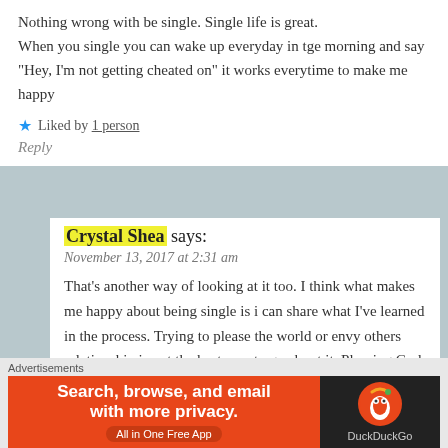Nothing wrong with be single. Single life is great.
When you single you can wake up everyday in tge morning and say “Hey, I’m not getting cheated on” it works everytime to make me happy
★ Liked by 1 person
Reply
Crystal Shea says:
November 13, 2017 at 2:31 am
That’s another way of looking at it too. I think what makes me happy about being single is i can share what I’ve learned in the process. Trying to please the world or envy others relationship is not the best way to go about it. Pleasing God is. Well for me anyway.
Advertisements
Search, browse, and email with more privacy. All in One Free App DuckDuckGo